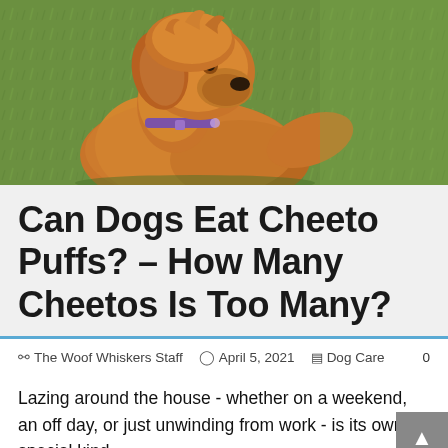[Figure (photo): Golden retriever dog with a purple collar sitting on green grass, looking upward to the right]
Can Dogs Eat Cheeto Puffs? – How Many Cheetos Is Too Many?
The Woof Whiskers Staff   April 5, 2021   Dog Care   0
Lazing around the house - whether on a weekend, an off day, or just unwinding from work - is its own special kind of fun, especially when you're the type of person who loves snacks while doing so.